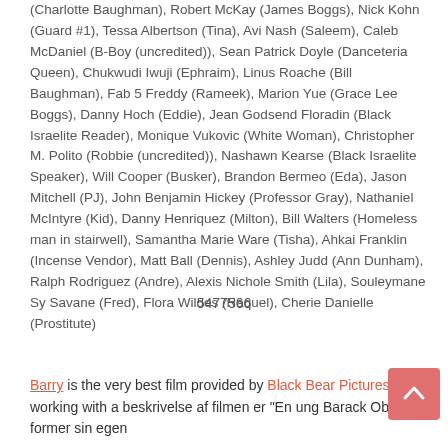(Charlotte Baughman), Robert McKay (James Boggs), Nick Kohn (Guard #1), Tessa Albertson (Tina), Avi Nash (Saleem), Caleb McDaniel (B-Boy (uncredited)), Sean Patrick Doyle (Danceteria Queen), Chukwudi Iwuji (Ephraim), Linus Roache (Bill Baughman), Fab 5 Freddy (Rameek), Marion Yue (Grace Lee Boggs), Danny Hoch (Eddie), Jean Godsend Floradin (Black Israelite Reader), Monique Vukovic (White Woman), Christopher M. Polito (Robbie (uncredited)), Nashawn Kearse (Black Israelite Speaker), Will Cooper (Busker), Brandon Bermeo (Eda), Jason Mitchell (PJ), John Benjamin Hickey (Professor Gray), Nathaniel McIntyre (Kid), Danny Henriquez (Milton), Bill Walters (Homeless man in stairwell), Samantha Marie Ware (Tisha), Ahkai Franklin (Incense Vendor), Matt Ball (Dennis), Ashley Judd (Ann Dunham), Ralph Rodriguez (Andre), Alexis Nichole Smith (Lila), Souleymane Sy Savane (Fred), Flora Wildes (Raquel), Cherie Danielle (Prostitute)
5477566
Barry is the very best film provided by Black Bear Pictures, working with a beskrivelse af filmen er "En ung Barack Obama former sin egen